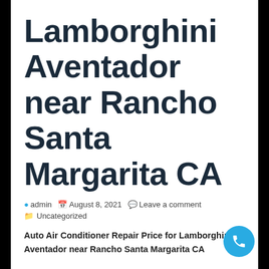Lamborghini Aventador near Rancho Santa Margarita CA
admin  August 8, 2021  Leave a comment  Uncategorized
Auto Air Conditioner Repair Price for Lamborghini Aventador near Rancho Santa Margarita CA